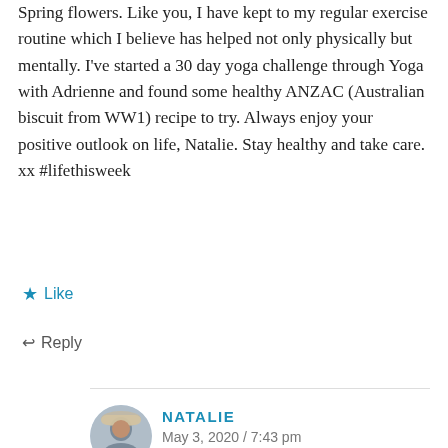Spring flowers. Like you, I have kept to my regular exercise routine which I believe has helped not only physically but mentally. I've started a 30 day yoga challenge through Yoga with Adrienne and found some healthy ANZAC (Australian biscuit from WW1) recipe to try. Always enjoy your positive outlook on life, Natalie. Stay healthy and take care. xx #lifethisweek
★ Like
↩ Reply
NATALIE
May 3, 2020 / 7:43 pm
Hi Sue, The regular exercise routine and yoga help tremendously, especially in uncertain times like now. They help me maintain my positive outlook. I greatly